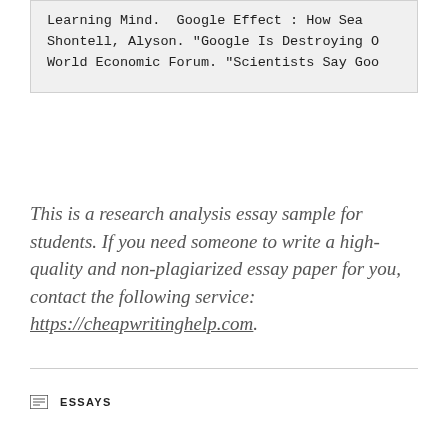Learning Mind.  Google Effect : How Sea
Shontell, Alyson. "Google Is Destroying O
World Economic Forum. "Scientists Say Goo
This is a research analysis essay sample for students. If you need someone to write a high-quality and non-plagiarized essay paper for you, contact the following service: https://cheapwritinghelp.com.
ESSAYS